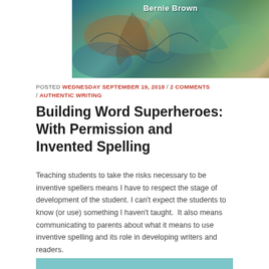[Figure (photo): Colorful abstract banner image with blues, greens, teals, and warm tones, with text 'Bernie Brown' overlaid in white]
POSTED WEDNESDAY SEPTEMBER 19, 2018 / 2 COMMENTS / AUTHENTIC WRITING
Building Word Superheroes: With Permission and Invented Spelling
Teaching students to take the risks necessary to be inventive spellers means I have to respect the stage of development of the student. I can't expect the students to know (or use) something I haven't taught.  It also means communicating to parents about what it means to use inventive spelling and its role in developing writers and readers.